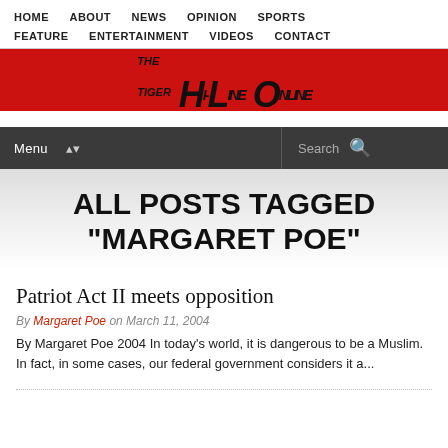HOME   ABOUT   NEWS   OPINION   SPORTS   FEATURE   ENTERTAINMENT   VIDEOS   CONTACT
[Figure (logo): The Tiger Hi-Line Online red banner logo]
Menu   Search
ALL POSTS TAGGED "MARGARET POE"
Patriot Act II meets opposition
By Margaret Poe on March 11, 2004
By Margaret Poe 2004 In today's world, it is dangerous to be a Muslim. In fact, in some cases, our federal government considers it a...